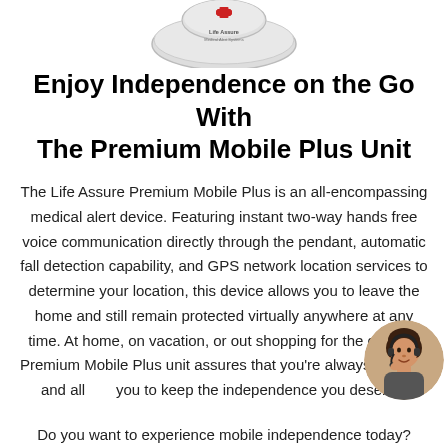[Figure (photo): Life Assure Medical Alert Systems device - a grey oval/puck-shaped pendant with red cross logo and text 'Life Assure Medical Alert Systems']
Enjoy Independence on the Go With The Premium Mobile Plus Unit
The Life Assure Premium Mobile Plus is an all-encompassing medical alert device. Featuring instant two-way hands free voice communication directly through the pendant, automatic fall detection capability, and GPS network location services to determine your location, this device allows you to leave the home and still remain protected virtually anywhere at any time. At home, on vacation, or out shopping for the day, the Premium Mobile Plus unit assures that you're always covered and allows you to keep the independence you deserve.
[Figure (photo): A woman with dark hair wearing a headset/telephone headset, appearing to be a customer service agent, shown in a circular cropped photo]
Do you want to experience mobile independence today?